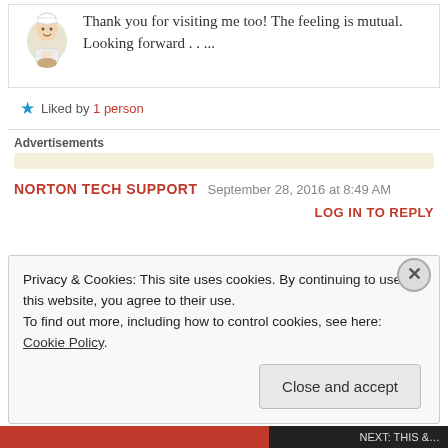Thank you for visiting me too! The feeling is mutual. Looking forward . . ...
Liked by 1 person
Advertisements
NORTON TECH SUPPORT   September 28, 2016 at 8:49 AM
LOG IN TO REPLY
Privacy & Cookies: This site uses cookies. By continuing to use this website, you agree to their use. To find out more, including how to control cookies, see here: Cookie Policy
Close and accept